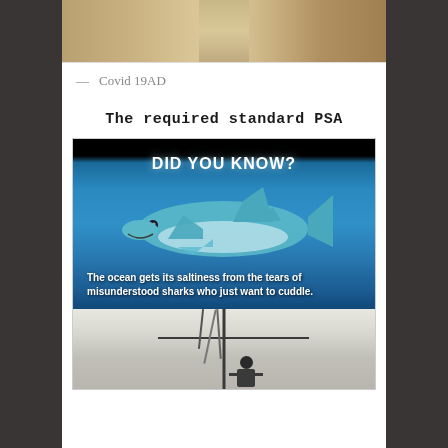[Figure (photo): Top of a photograph showing people, cut off at top, with warm earthy tones]
— Covid 19AD
The required standard PSA
[Figure (infographic): DID YOU KNOW? infographic with a shark on a blue ocean background. Caption reads: The ocean gets its saltiness from the tears of misunderstood sharks who just want to cuddle.]
[Figure (photo): Bottom portion of image showing a person on a boat looking up at rigging/mast, partially cut off]